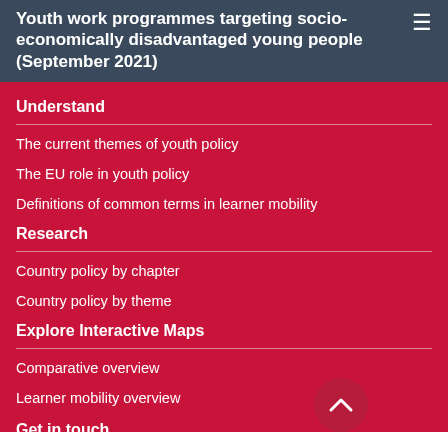Youth work programmes targeting socio-economically disadvantaged young people (September 2021)
Understand
The current themes of youth policy
The EU role in youth policy
Definitions of common terms in learner mobility
Research
Country policy by chapter
Country policy by theme
Explore Interactive Maps
Comparative overview
Learner mobility overview
Get in touch